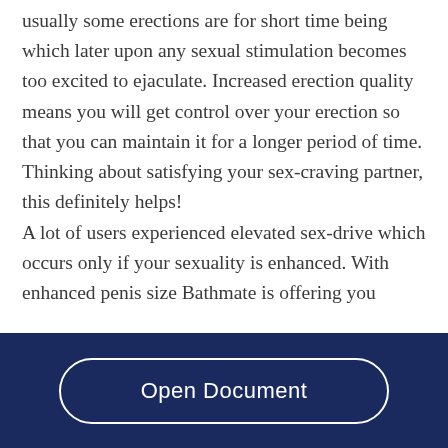usually some erections are for short time being which later upon any sexual stimulation becomes too excited to ejaculate. Increased erection quality means you will get control over your erection so that you can maintain it for a longer period of time. Thinking about satisfying your sex-craving partner, this definitely helps! A lot of users experienced elevated sex-drive which occurs only if your sexuality is enhanced. With enhanced penis size Bathmate is offering you
Open Document